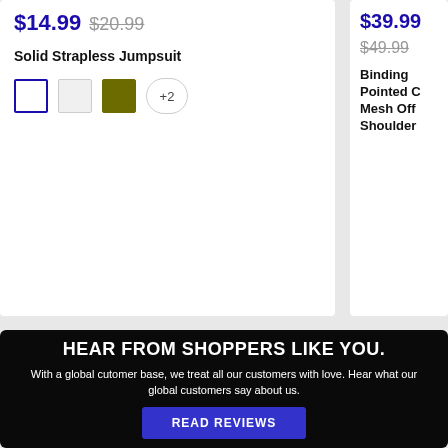$14.99  $20.99
Solid Strapless Jumpsuit
[Figure (other): Color swatches: white (selected, blue border), light gray, olive/dark yellow, and +2 more indicator]
$39.99  $49.99
Binding Pointed C... Mesh Off Shoulder...
HEAR FROM SHOPPERS LIKE YOU.
With a global cutomer base, we treat all our customers with love. Hear what our global customers say about us.
READ REVIEWS